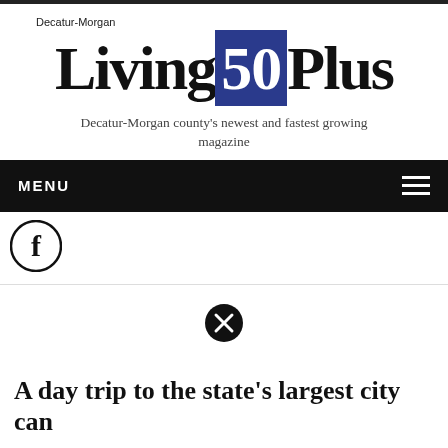Decatur-Morgan Living 50 Plus
Decatur-Morgan county's newest and fastest growing magazine
MENU
[Figure (logo): Facebook circular logo icon (f in circle)]
[Figure (other): Close/dismiss button (x in filled circle)]
A day trip to the state's largest city can